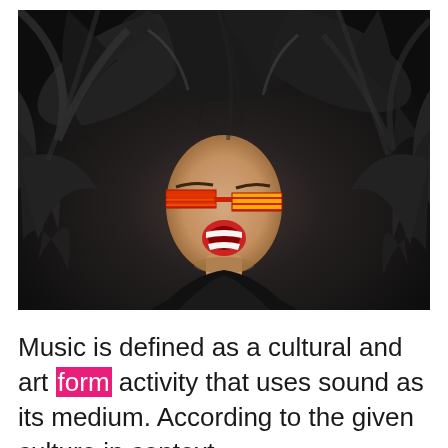[Figure (photo): A rock musician with wild, voluminous dark hair flying outward, wearing red and yellow shutter shades, mouth open in a scream or shout, photographed from above against a dark background.]
Music is defined as a cultural and art form activity that uses sound as its medium. According to the given culture in context